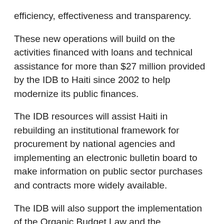efficiency, effectiveness and transparency.
These new operations will build on the activities financed with loans and technical assistance for more than $27 million provided by the IDB to Haiti since 2002 to help modernize its public finances.
The IDB resources will assist Haiti in rebuilding an institutional framework for procurement by national agencies and implementing an electronic bulletin board to make information on public sector purchases and contracts more widely available.
The IDB will also support the implementation of the Organic Budget Law and the improvement of an automated accounting and financial management system that will provide more adequate controls of spending as well as timely information on execution.